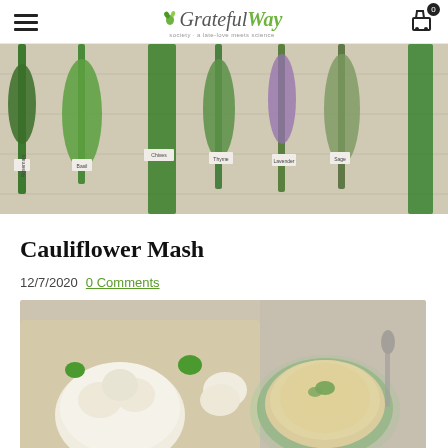GratefulWay
[Figure (photo): Hanging bunches of fresh herbs (rosemary, basil, chives, thyme, lavender, sage) with handwritten labels against a light wooden background]
Cauliflower Mash
12/7/2020  0 Comments
[Figure (photo): Cauliflower head and florets on a wooden cutting board next to a green bowl of creamy cauliflower mash garnished with parsley, with a spoon nearby]